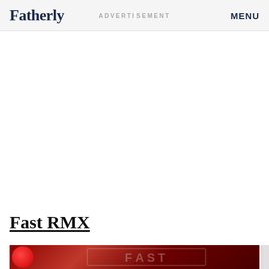Fatherly | ADVERTISEMENT | MENU
Fast RMX
[Figure (screenshot): Bottom strip showing Fast RMX game logo/banner with red game branding on dark red background]